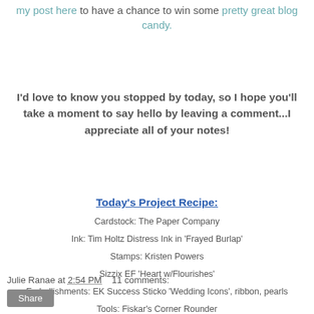my post here to have a chance to win some pretty great blog candy.
I'd love to know you stopped by today, so I hope you'll take a moment to say hello by leaving a comment...I appreciate all of your notes!
Today's Project Recipe:
Cardstock: The Paper Company
Ink: Tim Holtz Distress Ink in 'Frayed Burlap'
Stamps:  Kristen Powers
Sizzix EF 'Heart w/Flourishes'
Embellishments:  EK Success Sticko 'Wedding Icons', ribbon, pearls
Tools:  Fiskar's Corner Rounder
Julie Ranae at 2:54 PM    11 comments: